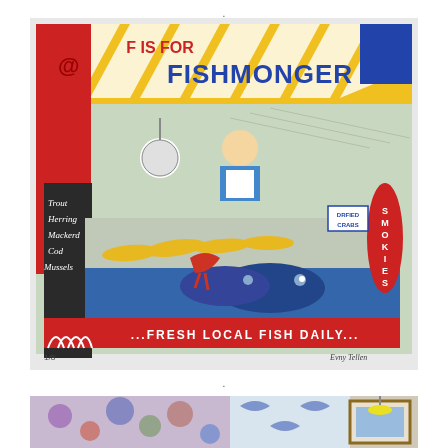[Figure (illustration): Colorful screenprint illustration titled 'F IS FOR FISHMONGER' showing a fishmonger shop stall with striped yellow and white awning, a fishmonger behind a counter displaying various fish including trout, herring, mackerel, cod, mussels, lobsters and crabs. A chalkboard sign lists fish types. A red fish shape on the right reads 'SMOKIES'. Bottom banner reads '...FRESH LOCAL FISH DAILY...' Numbered print with signature.]
[Figure (photo): Partial view of what appears to be a room or gallery interior showing decorative textiles or wallpaper with floral/bird patterns in blue and red, and a framed picture on the wall.]